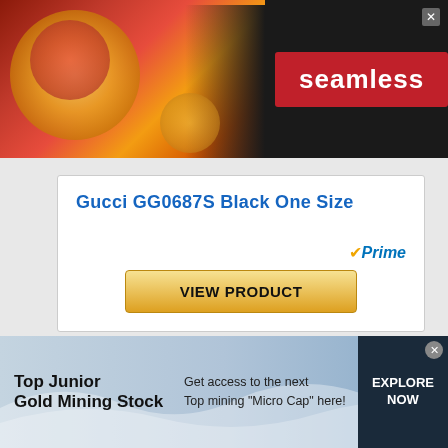[Figure (screenshot): Seamless food delivery advertisement banner with pizza image on left, seamless red logo in center, ORDER NOW button on right, dark background]
Gucci GG0687S Black One Size
[Figure (logo): Amazon Prime checkmark logo with orange checkmark and blue italic 'Prime' text]
VIEW PRODUCT
BESTSELLER NO. 7
[Figure (screenshot): Bottom advertisement: Top Junior Gold Mining Stock - Get access to the next Top mining Micro Cap here! EXPLORE NOW button]